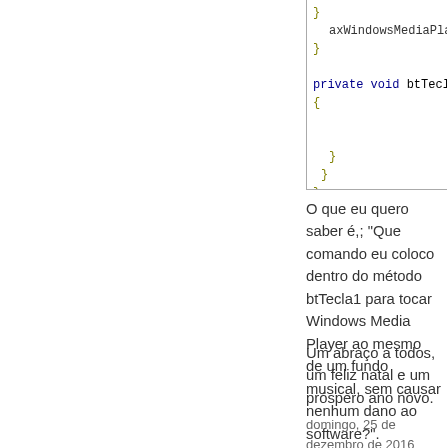[Figure (screenshot): Code editor screenshot showing C# code with partial visibility. Contains closing brace, axWindowsMediaPlayer1.set... call, closing brace, private void btTecla1_Click(obje... method signature, opening brace, closing brace, closing braces.]
O que eu quero saber é,; "Que comando eu coloco dentro do método btTecla1 para tocar Windows Media Player ao mesmo de um fundo musical, sem causar nenhum dano ao software?".
Um abraço a todos, um feliz natal e um próspero ano novo.
domingo, 25 de dezembro de 2016 17:29